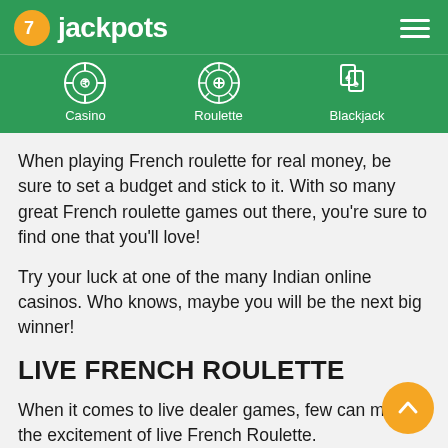7jackpots — Casino | Roulette | Blackjack
When playing French roulette for real money, be sure to set a budget and stick to it. With so many great French roulette games out there, you're sure to find one that you'll love!
Try your luck at one of the many Indian online casinos. Who knows, maybe you will be the next big winner!
LIVE FRENCH ROULETTE
When it comes to live dealer games, few can match the excitement of live French Roulette.
Live French Roulette is played in a studio with live dealers and real-life croupiers. This gives players the